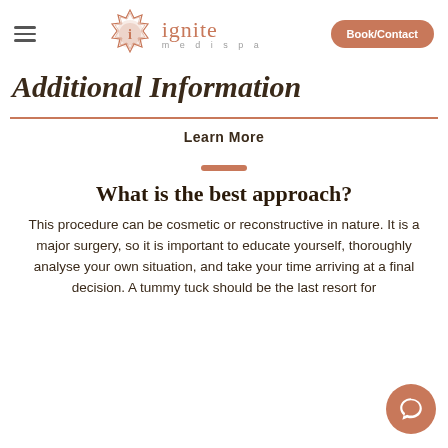ignite medispa — Book/Contact
Additional Information
Learn More
What is the best approach?
This procedure can be cosmetic or reconstructive in nature. It is a major surgery, so it is important to educate yourself, thoroughly analyse your own situation, and take your time arriving at a final decision. A tummy tuck should be the last resort for